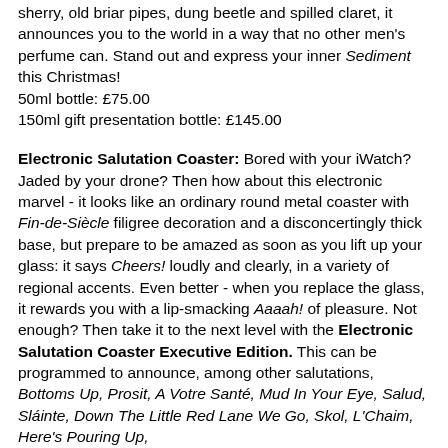sherry, old briar pipes, dung beetle and spilled claret, it announces you to the world in a way that no other men's perfume can. Stand out and express your inner Sediment this Christmas!
50ml bottle: £75.00
150ml gift presentation bottle: £145.00
Electronic Salutation Coaster: Bored with your iWatch? Jaded by your drone? Then how about this electronic marvel - it looks like an ordinary round metal coaster with Fin-de-Siècle filigree decoration and a disconcertingly thick base, but prepare to be amazed as soon as you lift up your glass: it says Cheers! loudly and clearly, in a variety of regional accents. Even better - when you replace the glass, it rewards you with a lip-smacking Aaaah! of pleasure. Not enough? Then take it to the next level with the Electronic Salutation Coaster Executive Edition. This can be programmed to announce, among other salutations, Bottoms Up, Prosit, A Votre Santé, Mud In Your Eye, Salud, Sláinte, Down The Little Red Lane We Go, Skol, L'Chaim, Here's Pouring Up,